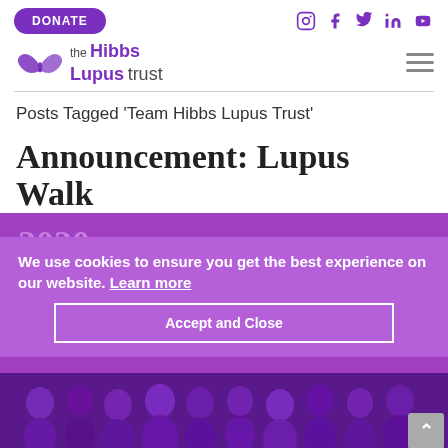DONATE | social icons: Instagram, Facebook, Twitter, LinkedIn, YouTube
[Figure (logo): The Hibbs Lupus Trust logo with butterfly icon and text 'the Hibbs Lupus trust']
Posts Tagged 'Team Hibbs Lupus Trust'
Announcement: Lupus Walk 2020
By John Hibbs | March 21, 2020 |
We use cookies to ensure you get the best experience on our website. Learn more
Accept and Close
[Figure (photo): Group photo of people in purple t-shirts at a Lupus Walk event]